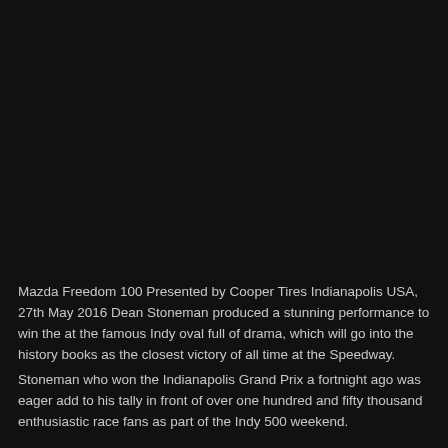Mazda Freedom 100 Presented by Cooper Tires Indianapolis USA, 27th May 2016 Dean Stoneman produced a stunning performance to win the at the famous Indy oval full of drama, which will go into the history books as the closest victory of all time at the Speedway.
Stoneman who won the Indianapolis Grand Prix a fortnight ago was eager add to his tally in front of over one hundred and fifty thousand enthusiastic race fans as part of the Indy 500 weekend.